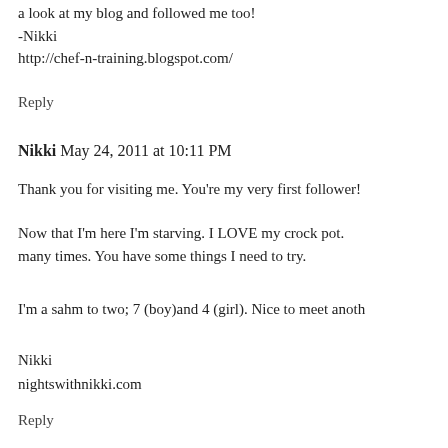a look at my blog and followed me too!
-Nikki
http://chef-n-training.blogspot.com/
Reply
Nikki May 24, 2011 at 10:11 PM
Thank you for visiting me. You're my very first follower!
Now that I'm here I'm starving. I LOVE my crock pot. many times. You have some things I need to try.
I'm a sahm to two; 7 (boy)and 4 (girl). Nice to meet anoth
Nikki
nightswithnikki.com
Reply